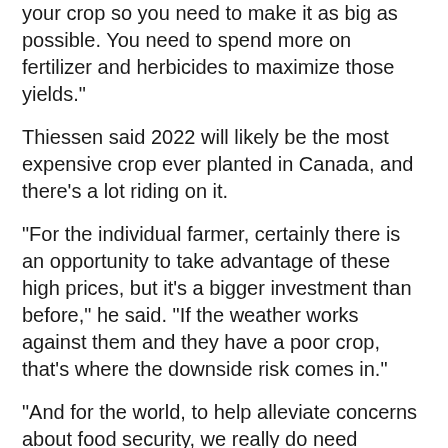your crop so you need to make it as big as possible. You need to spend more on fertilizer and herbicides to maximize those yields."
Thiessen said 2022 will likely be the most expensive crop ever planted in Canada, and there's a lot riding on it.
"For the individual farmer, certainly there is an opportunity to take advantage of these high prices, but it's a bigger investment than before," he said. "If the weather works against them and they have a poor crop, that's where the downside risk comes in."
"And for the world, to help alleviate concerns about food security, we really do need Canada to produce a great crop this year," Thiessen added. "If Canada's crop isn't as strong as possible this year, it will further exacerbate concerns about food security."
This report by The Canadian Press was first published May 30, 2022.